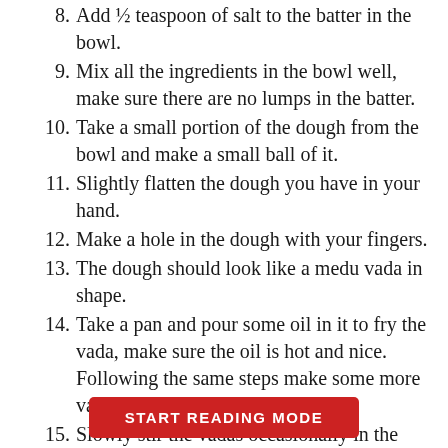8. Add ½ teaspoon of salt to the batter in the bowl.
9. Mix all the ingredients in the bowl well, make sure there are no lumps in the batter.
10. Take a small portion of the dough from the bowl and make a small ball of it.
11. Slightly flatten the dough you have in your hand.
12. Make a hole in the dough with your fingers.
13. The dough should look like a medu vada in shape.
14. Take a pan and pour some oil in it to fry the vada, make sure the oil is hot and nice. Following the same steps make some more vadas and put in the pan as well.
15. Slowly stir the vadas occasionally in the pan.
16. Deep fry the vadas at a medium flame, also flip the vadas to fry both the sides equally.
17. Fry the vadas in the pan until they are golden
START READING MODE